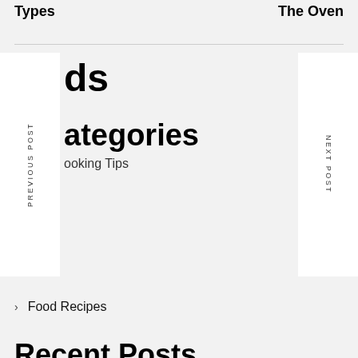Types	The Oven
ds
PREVIOUS POST
NEXT POST
ategories
ooking Tips
Food Recipes
Recent Posts